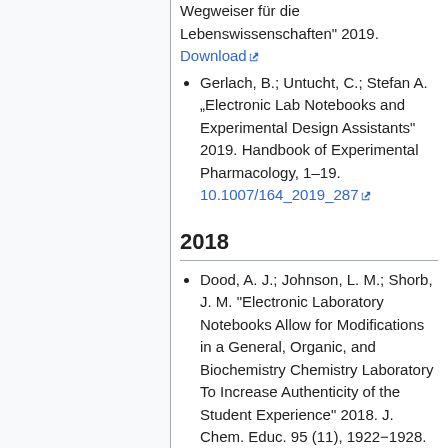Wegweiser für die Lebenswissenschaften" 2019. Download
Gerlach, B.; Untucht, C.; Stefan A. „Electronic Lab Notebooks and Experimental Design Assistants" 2019. Handbook of Experimental Pharmacology, 1–19. 10.1007/164_2019_287
2018
Dood, A. J.; Johnson, L. M.; Shorb, J. M. "Electronic Laboratory Notebooks Allow for Modifications in a General, Organic, and Biochemistry Chemistry Laboratory To Increase Authenticity of the Student Experience" 2018. J. Chem. Educ. 95 (11), 1922−1928. 10.1021/acs.jchemed.8b00140